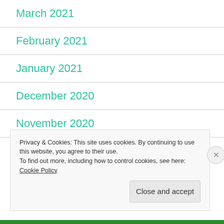March 2021
February 2021
January 2021
December 2020
November 2020
October 2020
Privacy & Cookies: This site uses cookies. By continuing to use this website, you agree to their use.
To find out more, including how to control cookies, see here: Cookie Policy
Close and accept